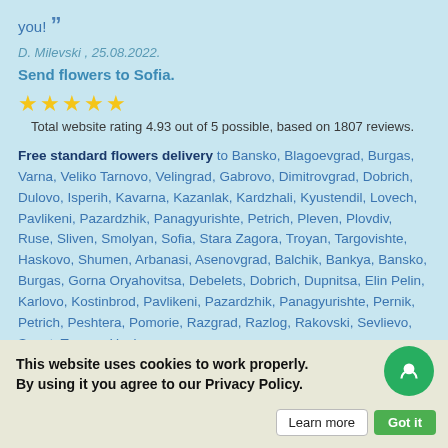you! "
D. Milevski , 25.08.2022.
Send flowers to Sofia.
[Figure (other): Five gold star rating icons]
Total website rating 4.93 out of 5 possible, based on 1807 reviews.
Free standard flowers delivery to Bansko, Blagoevgrad, Burgas, Varna, Veliko Tarnovo, Velingrad, Gabrovo, Dimitrovgrad, Dobrich, Dulovo, Isperih, Kavarna, Kazanlak, Kardzhali, Kyustendil, Lovech, Pavlikeni, Pazardzhik, Panagyurishte, Petrich, Pleven, Plovdiv, Ruse, Sliven, Smolyan, Sofia, Stara Zagora, Troyan, Targovishte, Haskovo, Shumen, Arbanasi, Asenovgrad, Balchik, Bankya, Bansko, Burgas, Gorna Oryahovitsa, Debelets, Dobrich, Dupnitsa, Elin Pelin, Karlovo, Kostinbrod, Pavlikeni, Pazardzhik, Panagyurishte, Pernik, Petrich, Peshtera, Pomorie, Razgrad, Razlog, Rakovski, Sevlievo, Sopot, Troyan, Haskovo,
This website uses cookies to work properly. By using it you agree to our Privacy Policy.